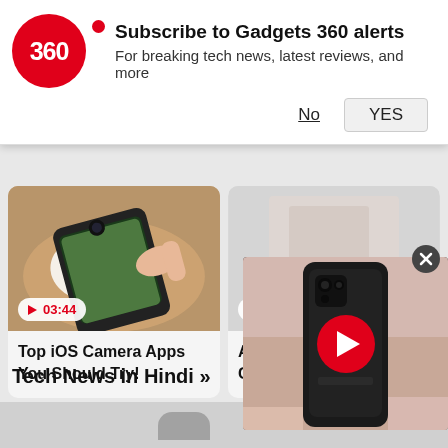[Figure (screenshot): Gadgets 360 logo — red circle with '360' text and a red dot bullet]
Subscribe to Gadgets 360 alerts
For breaking tech news, latest reviews, and more
No   YES
[Figure (photo): Person holding a smartphone photographing food on a table — iOS camera app screenshot]
▶ 03:44
Top iOS Camera Apps You Should Try!
▶ 19:51
Apple iPhone 14: What Can W
Tech News in Hindi »
[Figure (screenshot): Pop-up video player overlay showing a dark smartphone (Realme or similar) with a red play button, close button in top-right corner]